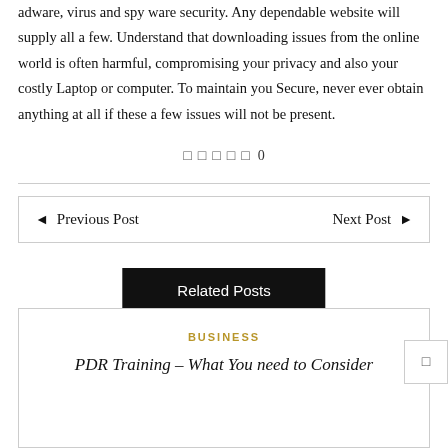adware, virus and spy ware security. Any dependable website will supply all a few. Understand that downloading issues from the online world is often harmful, compromising your privacy and also your costly Laptop or computer. To maintain you Secure, never ever obtain anything at all if these a few issues will not be present.
□ □ □ □  □ 0
← Previous Post    Next Post →
Related Posts
BUSINESS
PDR Training – What You need to Consider